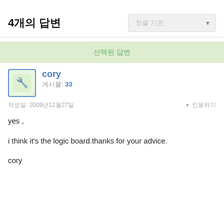4개의 답변
선택된 답변
cory
게시물: 33

작성일: 2009년12월27일

yes ,

i think it's the logic board.thanks for your advice.

cory